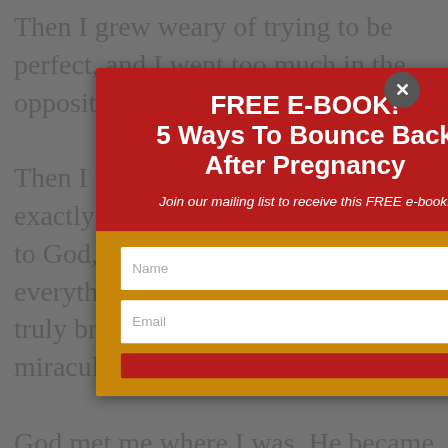Then I grew weary of trying to be perfect, and I went too much in the opposite direction. Then I hit a point that was almost exactly five years ago that I cried out to God, "I need You to be my everything!" from a heart that was truly broken and in need of miraculous healing. God met me where I was. He became my source for confidence and contentment. I took a year off of
[Figure (screenshot): A modal popup dialog with a dark red upper section displaying 'FREE E-BOOK! 5 Ways To Bounce Back After Pregnancy' and a subtitle 'Join our mailing list to receive this FREE e-book!', followed by a gold/yellow lower section containing Name and Email input fields. A close button (X) appears in the top-right corner of the modal.]